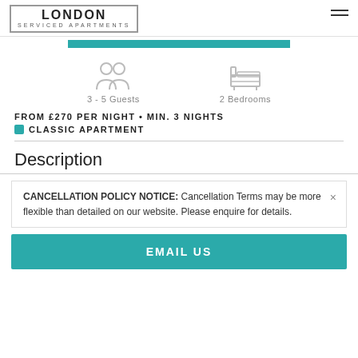LONDON SERVICED APARTMENTS
[Figure (infographic): Two person icons indicating 3-5 Guests and a bed icon indicating 2 Bedrooms]
3 - 5 Guests
2 Bedrooms
FROM £270 PER NIGHT • MIN. 3 NIGHTS
CLASSIC APARTMENT
Description
CANCELLATION POLICY NOTICE: Cancellation Terms may be more flexible than detailed on our website. Please enquire for details.
EMAIL US